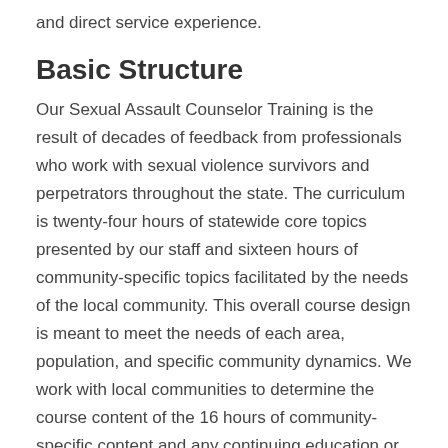and direct service experience.
Basic Structure
Our Sexual Assault Counselor Training is the result of decades of feedback from professionals who work with sexual violence survivors and perpetrators throughout the state. The curriculum is twenty-four hours of statewide core topics presented by our staff and sixteen hours of community-specific topics facilitated by the needs of the local community. This overall course design is meant to meet the needs of each area, population, and specific community dynamics. We work with local communities to determine the course content of the 16 hours of community-specific content and any continuing education or professional development topics.
Course Overview